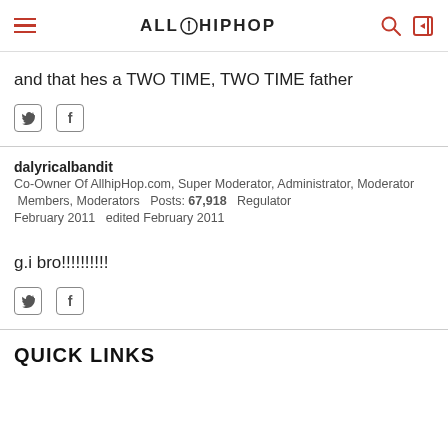ALLHIPHOP
and that hes a TWO TIME, TWO TIME father
dalyricalbandit
Co-Owner Of AllhipHop.com, Super Moderator, Administrator, Moderator
Members, Moderators   Posts: 67,918   Regulator
February 2011   edited February 2011
g.i bro!!!!!!!!!!
QUICK LINKS